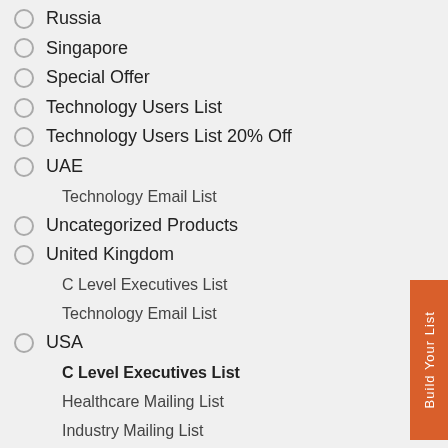Russia
Singapore
Special Offer
Technology Users List
Technology Users List 20% Off
UAE
Technology Email List
Uncategorized Products
United Kingdom
C Level Executives List
Technology Email List
USA
C Level Executives List
Healthcare Mailing List
Industry Mailing List